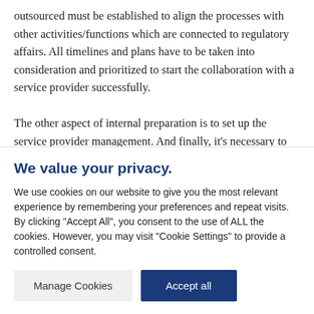outsourced must be established to align the processes with other activities/functions which are connected to regulatory affairs. All timelines and plans have to be taken into consideration and prioritized to start the collaboration with a service provider successfully.

The other aspect of internal preparation is to set up the service provider management. And finally, it's necessary to evaluate the company's IT
We value your privacy.
We use cookies on our website to give you the most relevant experience by remembering your preferences and repeat visits. By clicking "Accept All", you consent to the use of ALL the cookies. However, you may visit "Cookie Settings" to provide a controlled consent.
Manage Cookies | Accept all